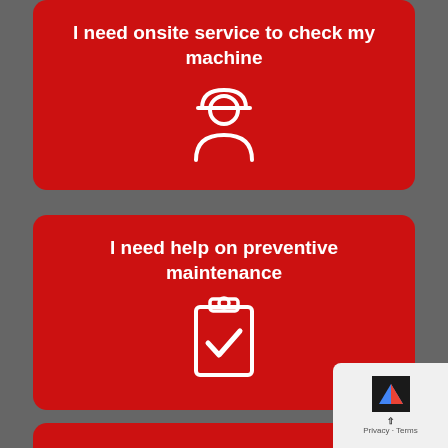[Figure (infographic): Red card with white construction worker / hard hat person icon and bold white text: I need onsite service to check my machine]
[Figure (infographic): Red card with white clipboard with checkmark icon and bold white text: I need help on preventive maintenance]
[Figure (infographic): Red card (partially visible) with bold white text: I have automation / industrial 4.0 project to discuss]